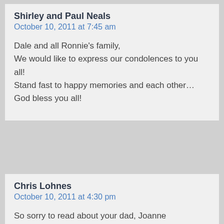Shirley and Paul Neals
October 10, 2011 at 7:45 am
Dale and all Ronnie’s family,
We would like to express our condolences to you all!
Stand fast to happy memories and each other…
God bless you all!
Chris Lohnes
October 10, 2011 at 4:30 pm
So sorry to read about your dad, Joanne